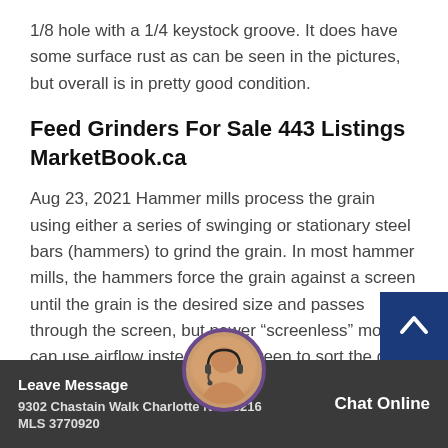1/8 hole with a 1/4 keystock groove. It does have some surface rust as can be seen in the pictures, but overall is in pretty good condition.
Feed Grinders For Sale 443 Listings MarketBook.ca
Aug 23, 2021 Hammer mills process the grain using either a series of swinging or stationary steel bars (hammers) to grind the grain. In most hammer mills, the hammers force the grain against a screen until the grain is the desired size and passes through the screen, but newer “screenless” models can use airflow instead of a screen to sort the grain that ...
9302 Chastain Walk Charlotte NC 28216
MLS 3770920
Leave Message   Chat Online